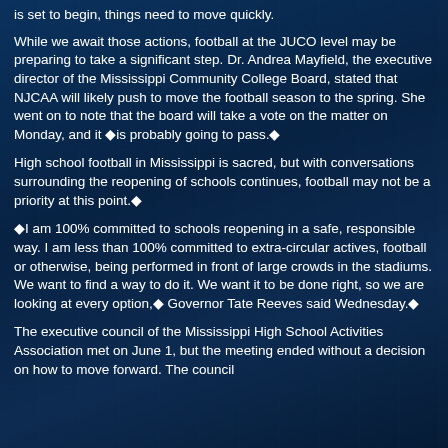is set to begin, things need to move quickly.
While we await those actions, football at the JUCO level may be preparing to take a significant step. Dr. Andrea Mayfield, the executive director of the Mississippi Community College Board, stated that NJCAA will likely push to move the football season to the spring. She went on to note that the board will take a vote on the matter on Monday, and it ◆is probably going to pass.◆
High school football in Mississippi is sacred, but with conversations surrounding the reopening of schools continues, football may not be a priority at this point.◆
◆I am 100% committed to schools reopening in a safe, responsible way. I am less than 100% committed to extra-circular actives, football or otherwise, being performed in front of large crowds in the stadiums. We want to find a way to do it. We want it to be done right, so we are looking at every option,◆ Governor Tate Reeves said Wednesday.◆
The executive council of the Mississippi High School Activities Association met on June 1, but the meeting ended without a decision on how to move forward. The council